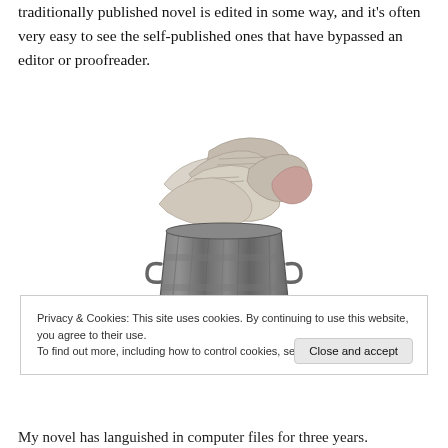traditionally published novel is edited in some way, and it's often very easy to see the self-published ones that have bypassed an editor or proofreader.
[Figure (photo): A metal trash can overflowing with crumpled paper and newspaper scraps, depicted on a white background.]
Privacy & Cookies: This site uses cookies. By continuing to use this website, you agree to their use.
To find out more, including how to control cookies, see here: Cookie Policy
My novel has languished in computer files for three years.